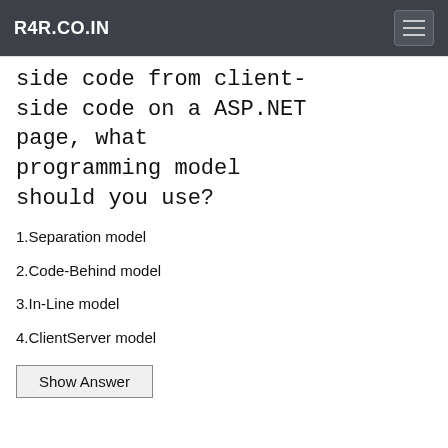R4R.CO.IN
side code from client-side code on a ASP.NET page, what programming model should you use?
1.Separation model
2.Code-Behind model
3.In-Line model
4.ClientServer model
Show Answer